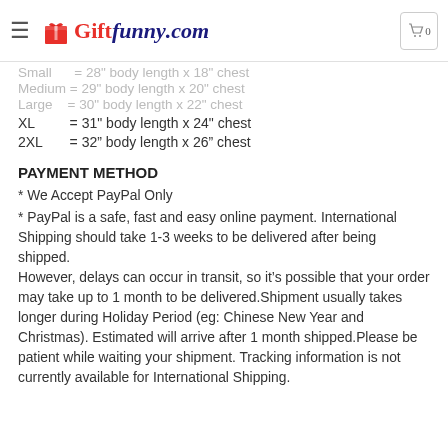Giftfunny.com
Small = 28" body length x 18" chest
Medium = 29" body length x 20" chest
Large = 30" body length x 22" chest
XL = 31" body length x 24" chest
2XL = 32" body length x 26" chest
PAYMENT METHOD
* We Accept PayPal Only
* PayPal is a safe, fast and easy online payment. International Shipping should take 1-3 weeks to be delivered after being shipped. However, delays can occur in transit, so it’s possible that your order may take up to 1 month to be delivered.Shipment usually takes longer during Holiday Period (eg: Chinese New Year and Christmas). Estimated will arrive after 1 month shipped.Please be patient while waiting your shipment. Tracking information is not currently available for International Shipping.